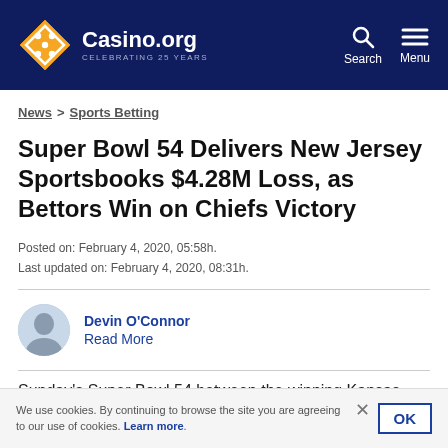Casino.org — CELEBRATING 25 YEARS
News > Sports Betting
Super Bowl 54 Delivers New Jersey Sportsbooks $4.28M Loss, as Bettors Win on Chiefs Victory
Posted on: February 4, 2020, 05:58h.
Last updated on: February 4, 2020, 08:31h.
Devin O'Connor
Read More
Sunday's Super Bowl 54 between the winning Kansas City Chiefs and San Francisco 49ers resulted in a major loss for
We use cookies. By continuing to browse the site you are agreeing to our use of cookies. Learn more.